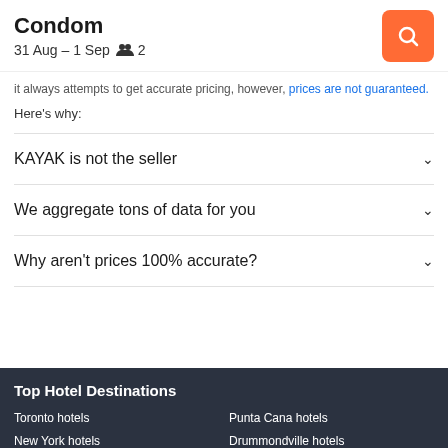Condom
31 Aug – 1 Sep  2
it always attempts to get accurate pricing, however, prices are not guaranteed.
Here's why:
KAYAK is not the seller
We aggregate tons of data for you
Why aren't prices 100% accurate?
Top Hotel Destinations
Toronto hotels
Punta Cana hotels
New York hotels
Drummondville hotels
Rocky Mountain House hotels
Boston hotels
Vancouver hotels
Abu Dhabi hotels